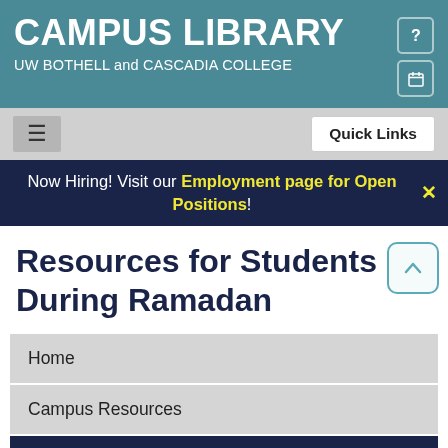CAMPUS LIBRARY
UW BOTHELL and CASCADIA COLLEGE
Now Hiring! Visit our Employment page for Open Positions!
Resources for Students During Ramadan
Home
Campus Resources
Library Resources
Food Services